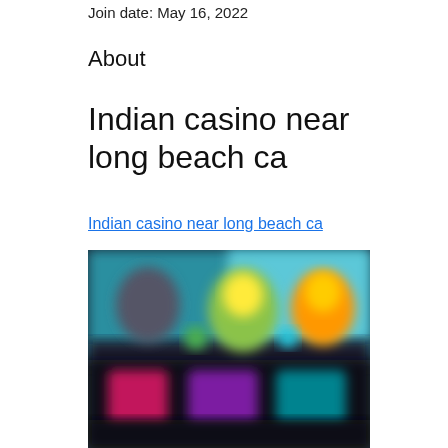Join date: May 16, 2022
About
Indian casino near long beach ca
Indian casino near long beach ca
[Figure (photo): Blurred screenshot of an online casino game interface showing game tiles with colorful characters on a dark background with teal/blue tones]